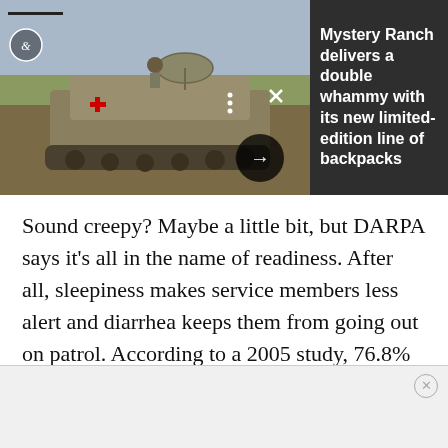[Figure (photo): Military armored personnel carrier (tank) on dirt terrain with soldiers, seen from behind]
Mystery Ranch delivers a double whammy with its new limited-edition line of backpacks
Sound creepy? Maybe a little bit, but DARPA says it's all in the name of readiness. After all, sleepiness makes service members less alert and diarrhea keeps them from going out on patrol. According to a 2005 study, 76.8% of troops surveyed in Iraq and 54.5% of troops surveyed in Afghanistan reported diarrhea, and many of those had to miss missions or go to the
[Figure (other): Advertisement banner (blank/loading ad)]